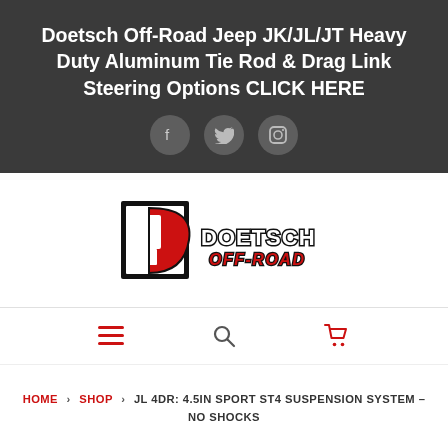Doetsch Off-Road Jeep JK/JL/JT Heavy Duty Aluminum Tie Rod & Drag Link Steering Options CLICK HERE
[Figure (logo): Doetsch Off-Road logo with stylized D icon in red, white and black, with 'DOETSCH OFF-ROAD' text]
HOME > SHOP > JL 4DR: 4.5IN SPORT ST4 SUSPENSION SYSTEM – NO SHOCKS